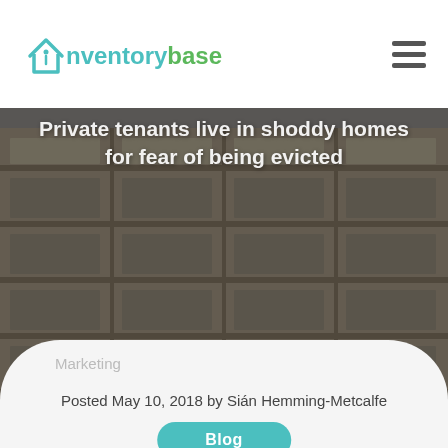inventorybase
[Figure (photo): Exterior of a brutalist residential apartment block with balconies, photographed in muted grey tones. A large title overlays the image: 'Private tenants live in shoddy homes for fear of being evicted']
Private tenants live in shoddy homes for fear of being evicted
Marketing
Posted May 10, 2018 by Sián Hemming-Metcalfe
Blog
More than one in four tenants living in private